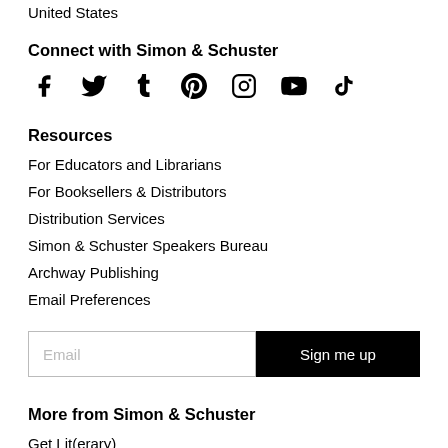United States
Connect with Simon & Schuster
[Figure (infographic): Social media icons: Facebook, Twitter, Tumblr, Pinterest, Instagram, YouTube, TikTok]
Resources
For Educators and Librarians
For Booksellers & Distributors
Distribution Services
Simon & Schuster Speakers Bureau
Archway Publishing
Email Preferences
[Figure (other): Email signup form with text input labeled 'Email' and a black 'Sign me up' button]
More from Simon & Schuster
Get Lit(erary)
Halo Books
History in Five